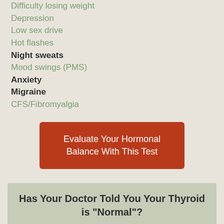Difficulty losing weight
Depression
Low sex drive
Hot flashes
Night sweats
Mood swings (PMS)
Anxiety
Migraine
CFS/Fibromyalgia
Evaluate Your Hormonal Balance With This Test
Has Your Doctor Told You Your Thyroid is "Normal"?
FIND OUT WHAT WE HAVE TO SAY ABOUT THAT »